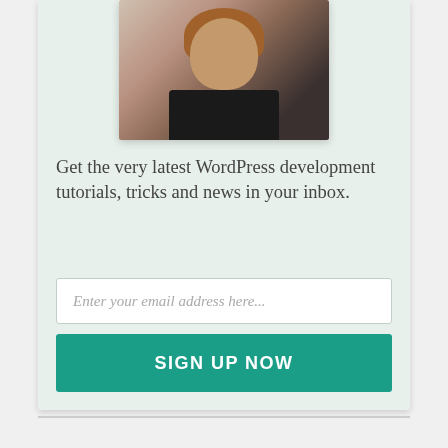[Figure (photo): Headshot photo of a woman with shoulder-length auburn/reddish-brown hair wearing glasses and a black top, smiling at camera]
Get the very latest WordPress development tutorials, tricks and news in your inbox.
Enter your email address here...
SIGN UP NOW